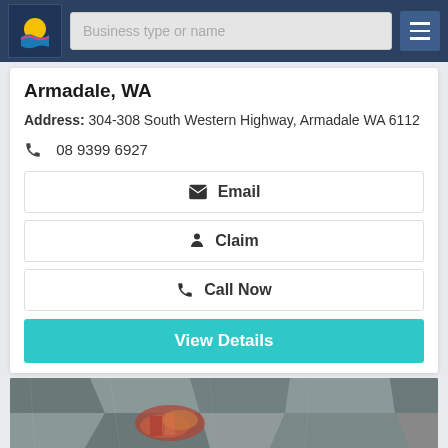Business type or name
Armadale, WA
Address: 304-308 South Western Highway, Armadale WA 6112
08 9399 6927
Email
Claim
Call Now
View Details
[Figure (photo): Close-up photo of a decorative stone or fossil surface with colorful mosaic-like texture]